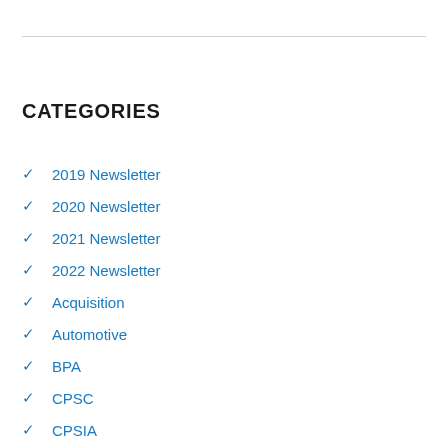CATEGORIES
2019 Newsletter
2020 Newsletter
2021 Newsletter
2022 Newsletter
Acquisition
Automotive
BPA
CPSC
CPSIA
CPT Technical Bulletin
Educational